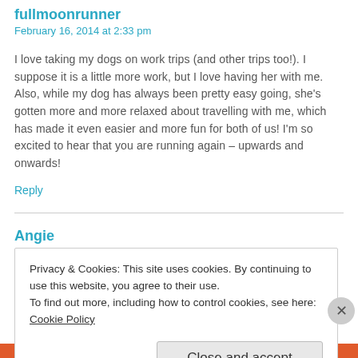fullmoonrunner
February 16, 2014 at 2:33 pm
I love taking my dogs on work trips (and other trips too!). I suppose it is a little more work, but I love having her with me. Also, while my dog has always been pretty easy going, she’s gotten more and more relaxed about travelling with me, which has made it even easier and more fun for both of us! I’m so excited to hear that you are running again – upwards and onwards!
Reply
Angie
February 16, 2014 at 2:50 pm
Privacy & Cookies: This site uses cookies. By continuing to use this website, you agree to their use.
To find out more, including how to control cookies, see here: Cookie Policy
Close and accept